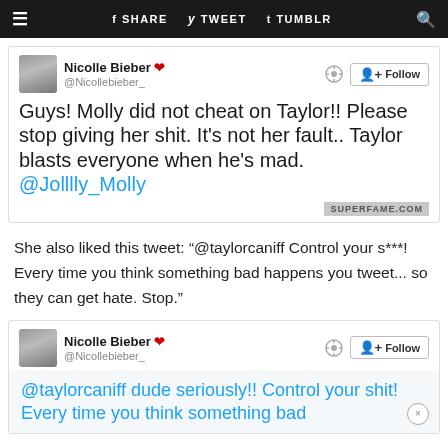≡  f SHARE  y TWEET  t TUMBLR  🔍
[Figure (screenshot): Tweet from Nicolle Bieber (@Nicollebieber_) with heart icon, gear and Follow button. Tweet text: Guys! Molly did not cheat on Taylor!! Please stop giving her shit. It's not her fault.. Taylor blasts everyone when he's mad. @Jolllly_Molly. Watermark: SUPERFAME.COM]
She also liked this tweet: "@taylorcaniff Control your s***! Every time you think something bad happens you tweet... so they can get hate. Stop."
[Figure (screenshot): Second tweet card from Nicolle Bieber (@Nicollebieber_) with heart icon, gear and Follow button. Partial tweet text visible: @taylorcaniff dude seriously!! Control your shit! Every time you think something bad]